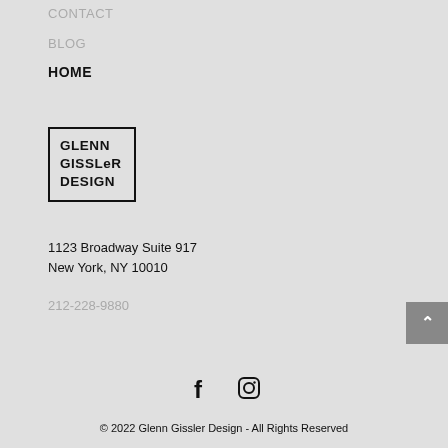CONTACT
BLOG
HOME
[Figure (logo): Glenn Gissler Design logo: black bordered rectangle containing text GLENN GISSLER DESIGN in bold uppercase]
1123 Broadway Suite 917
New York, NY 10010
212-228-9880
[Figure (other): Facebook and Instagram social media icons]
© 2022 Glenn Gissler Design - All Rights Reserved